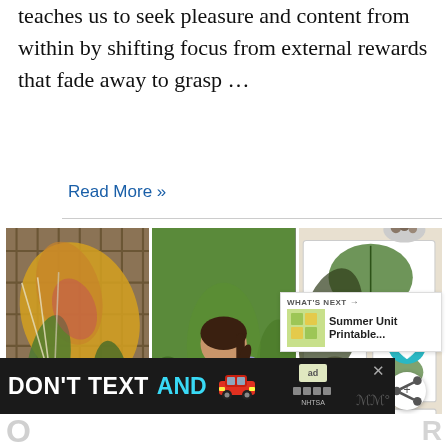teaches us to seek pleasure and content from within by shifting focus from external rewards that fade away to grasp …
Read More »
[Figure (photo): Three photos in a row: left - hands weaving plant stems through a wire grid with colorful leaves; center - a girl in overalls stacking stones on a log outdoors; right - educational nature cards with leaves, seeds and rocks on a table]
[Figure (infographic): Advertisement banner: DON'T TEXT AND [car emoji] with ad logo and NHTSA branding. Close button top right.]
WHAT'S NEXT → Summer Unit Printable...